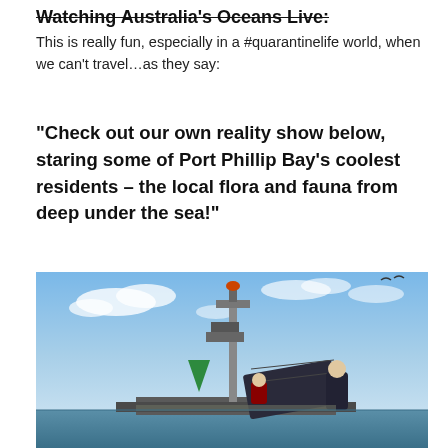Watching Australia's Oceans Live:
This is really fun, especially in a #quarantinelife world, when we can't travel…as they say:
“Check out our own reality show below, staring some of Port Phillip Bay’s coolest residents – the local flora and fauna from deep under the sea!”
[Figure (photo): A person working on a marine monitoring buoy or platform at sea, with a tall mast bearing lights and sensors, a green cone-shaped buoy marker, and solar panels visible. Blue sky with clouds in the background.]